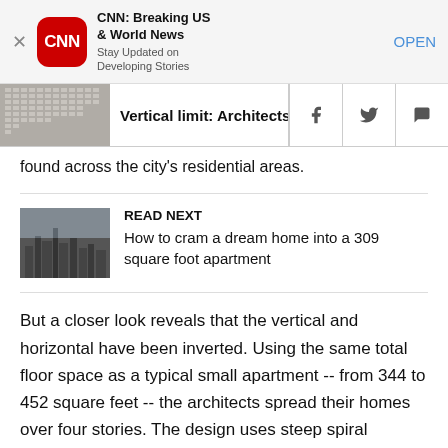[Figure (screenshot): CNN app banner with red CNN logo icon, app name 'CNN: Breaking US & World News', subtitle 'Stay Updated on Developing Stories', and an OPEN button]
[Figure (screenshot): Article header bar showing a building thumbnail, headline 'Vertical limit: Architects rei...' truncated, and social share icons for Facebook, Twitter, and WhatsApp]
found across the city's residential areas.
[Figure (photo): READ NEXT thumbnail showing a city skyline photo]
READ NEXT
How to cram a dream home into a 309 square foot apartment
But a closer look reveals that the vertical and horizontal have been inverted. Using the same total floor space as a typical small apartment -- from 344 to 452 square feet -- the architects spread their homes over four stories. The design uses steep spiral staircases that have a small footprint.